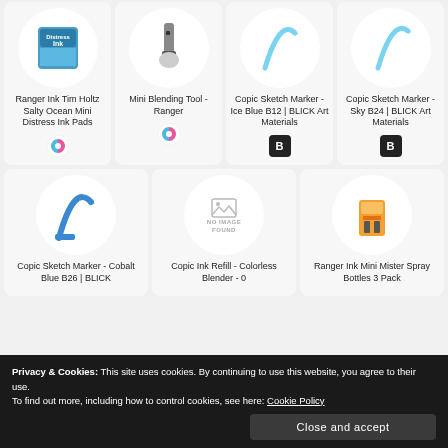[Figure (screenshot): Product grid showing art supplies. Top row: Ranger Ink Tim Holtz Salty Ocean Mini Distress Ink Pads, Mini Blending Tool - Ranger, Copic Sketch Marker - Ice Blue B12 | BLICK Art Materials, Copic Sketch Marker - Sky B24 | BLICK Art Materials. Bottom row: Copic Sketch Marker - Cobalt Blue B26 | BLICK, Copic Ink Refill - Colorless Blender - 0, Ranger Ink Mini Mister Spray Bottles 3 Pack.]
Privacy & Cookies: This site uses cookies. By continuing to use this website, you agree to their use.
To find out more, including how to control cookies, see here: Cookie Policy
Close and accept